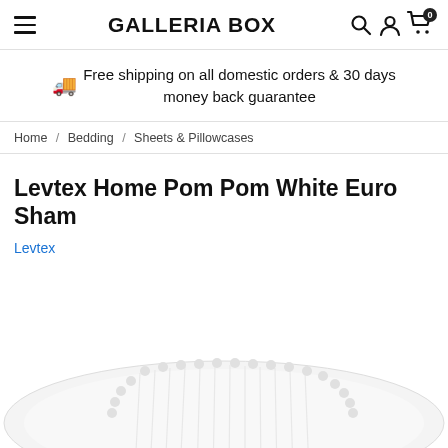GALLERIA BOX
Free shipping on all domestic orders & 30 days money back guarantee
Home / Bedding / Sheets & Pillowcases
Levtex Home Pom Pom White Euro Sham
Levtex
[Figure (photo): White euro sham pillow with pom pom trim border, photographed against white background]